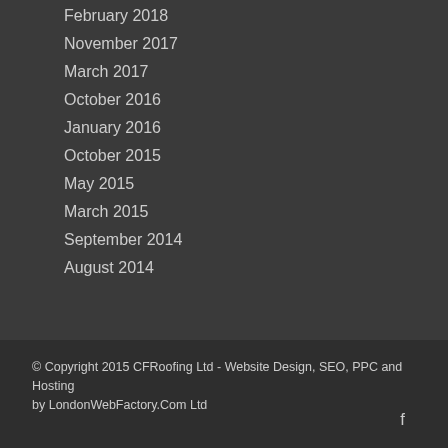February 2018
November 2017
March 2017
October 2016
January 2016
October 2015
May 2015
March 2015
September 2014
August 2014
© Copyright 2015 CFRoofing Ltd - Website Design, SEO, PPC and Hosting by LondonWebFactory.Com Ltd